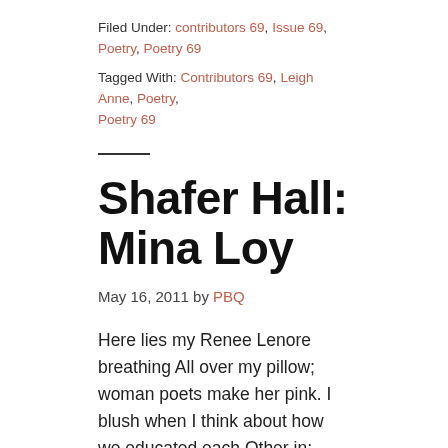Filed Under: contributors 69, Issue 69, Poetry, Poetry 69
Tagged With: Contributors 69, Leigh Anne, Poetry, Poetry 69
Shafer Hall: Mina Loy
May 16, 2011 by PBQ
Here lies my Renee Lenore breathing All over my pillow; woman poets make her pink. I blush when I think about how we educated each Other in: friction or rustling of the